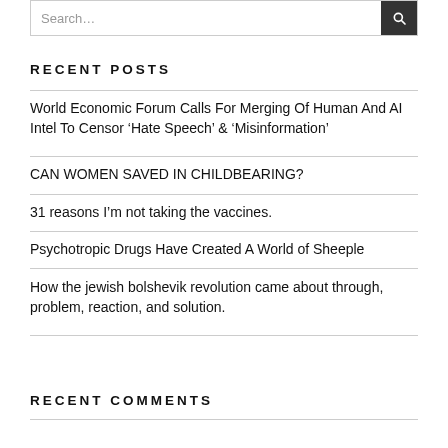RECENT POSTS
World Economic Forum Calls For Merging Of Human And AI Intel To Censor ‘Hate Speech’ & ‘Misinformation’
CAN WOMEN SAVED IN CHILDBEARING?
31 reasons I’m not taking the vaccines.
Psychotropic Drugs Have Created A World of Sheeple
How the jewish bolshevik revolution came about through, problem, reaction, and solution.
RECENT COMMENTS